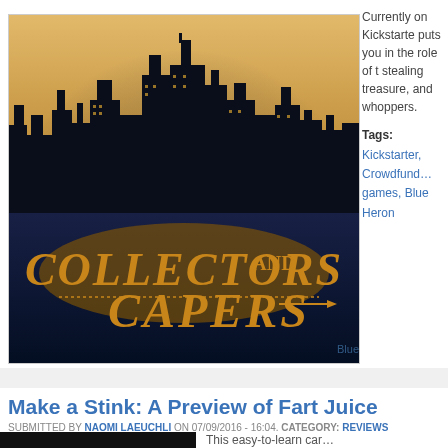[Figure (illustration): Game cover art for 'Collectors and Capers' showing a city skyline silhouette against a golden/amber sky, with ornate golden lettering spelling out 'COLLECTORS AND CAPERS' in the lower half. Small text 'Blue' in bottom right corner.]
Currently on Kickstarter, puts you in the role of t… stealing treasure, and … whoppers.
Tags:
Kickstarter, Crowdfund… games, Blue Heron
Make a Stink: A Preview of Fart Juice
SUBMITTED BY NAOMI LAEUCHLI ON 07/09/2016 - 16:04. CATEGORY: REVIEWS
This easy-to-learn car…